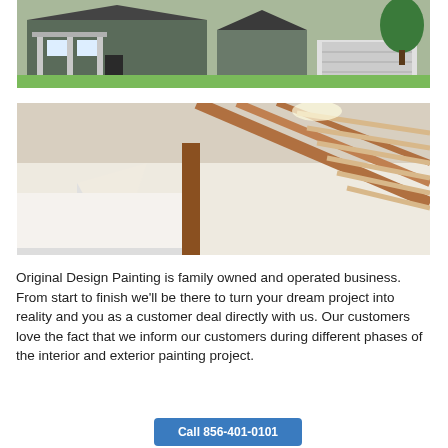[Figure (photo): Exterior photo of a gray two-story house with porch, garage, and green trees in summer.]
[Figure (photo): Interior photo looking up at wooden staircase railings and white walls, with a triangular wall feature.]
Original Design Painting is family owned and operated business. From start to finish we’ll be there to turn your dream project into reality and you as a customer deal directly with us. Our customers love the fact that we inform our customers during different phases of the interior and exterior painting project.
Call 856-401-0101